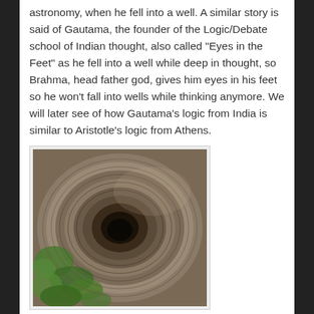astronomy, when he fell into a well.  A similar story is said of Gautama, the founder of the Logic/Debate school of Indian thought, also called “Eyes in the Feet” as he fell into a well while deep in thought, so Brahma, head father god, gives him eyes in his feet so he won’t fall into wells while thinking anymore.  We will later see of how Gautama’s logic from India is similar to Aristotle’s logic from Athens.
[Figure (photo): A photograph looking down into a stone-lined well, with green moss/plants growing on the sides and a dark circular opening at the bottom.]
Both stories may have more to them than first